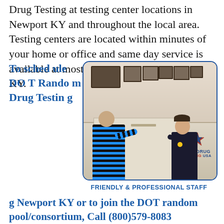Drug Testing at testing center locations in Newport KY and throughout the local area. Testing centers are located within minutes of your home or office and same day service is available at most testing centers in Newport KY.
To schedule DOT Random Drug Testing Newport KY or to join the DOT random pool/consortium, Call (800)579-8083
[Figure (photo): Photo of a receptionist at a DOT Drug Testing USA counter shaking hands with a client. The counter has the DOT Drug Testing USA logo with a star.]
FRIENDLY & PROFESSIONAL STAFF